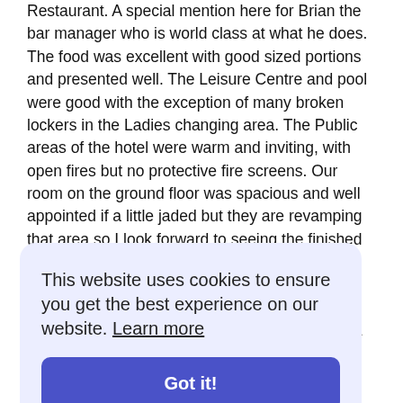Restaurant. A special mention here for Brian the bar manager who is world class at what he does. The food was excellent with good sized portions and presented well. The Leisure Centre and pool were good with the exception of many broken lockers in the Ladies changing area. The Public areas of the hotel were warm and inviting, with open fires but no protective fire screens. Our room on the ground floor was spacious and well appointed if a little jaded but they are revamping that area so I look forward to seeing the finished refurbishments. The double bed is the best I've slept in ever. Little things are letting this hotel down, such as worn carpets, rips and pulled treads on curtains and bed covers. If you want a good off season hotel this is it, there was music, bingo and dancing [faded: there in our stay. With a mid/school break who calls you like this will be revamping and ... available. recommend this ... willing to ...]
This website uses cookies to ensure you get the best experience on our website. Learn more
Got it!
[faded: From ... April 5 (1 per Midnight) ... only night result vat ... miles Great hotel esp always love this hotel]